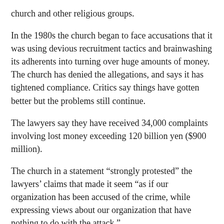church and other religious groups.
In the 1980s the church began to face accusations that it was using devious recruitment tactics and brainwashing its adherents into turning over huge amounts of money. The church has denied the allegations, and says it has tightened compliance. Critics say things have gotten better but the problems still continue.
The lawyers say they have received 34,000 complaints involving lost money exceeding 120 billion yen ($900 million).
The church in a statement “strongly protested” the lawyers’ claims that made it seem “as if our organization has been accused of the crime, while expressing views about our organization that have nothing to do with the attack.”
The church, which now calls itself the Family Federation for World Peace and Unification, said the lawyers were hurting church followers’ credibility, violating their human rights and causing a risk of hate crimes against them. The church has been flooded by harassing phone calls, it says, including death threats.